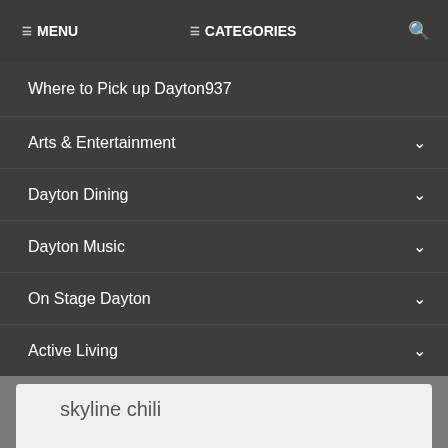☰ MENU  ☰ CATEGORIES  🔍
Where to Pick up Dayton937
Arts & Entertainment
Dayton Dining
Dayton Music
On Stage Dayton
Active Living
skyline chili